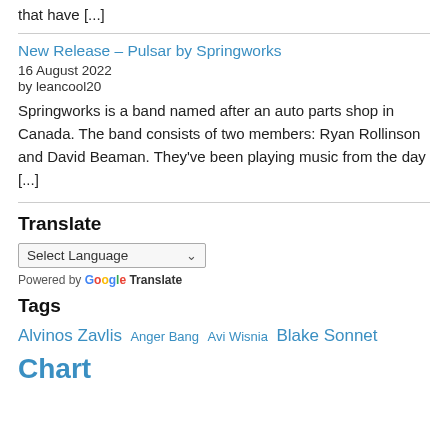that have [...]
New Release – Pulsar by Springworks
16 August 2022
by leancool20
Springworks is a band named after an auto parts shop in Canada. The band consists of two members: Ryan Rollinson and David Beaman. They've been playing music from the day [...]
Translate
Select Language
Powered by Google Translate
Tags
Alvinos Zavlis Anger Bang Avi Wisnia Blake Sonnet Chart